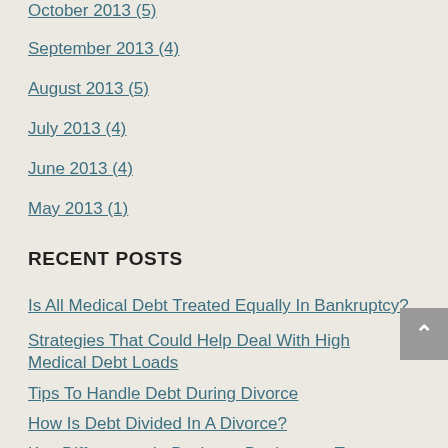October 2013 (5)
September 2013 (4)
August 2013 (5)
July 2013 (4)
June 2013 (4)
May 2013 (1)
RECENT POSTS
Is All Medical Debt Treated Equally In Bankruptcy?
Strategies That Could Help Deal With High Medical Debt Loads
Tips To Handle Debt During Divorce
How Is Debt Divided In A Divorce?
Key Differences In Business Bankruptcy Types